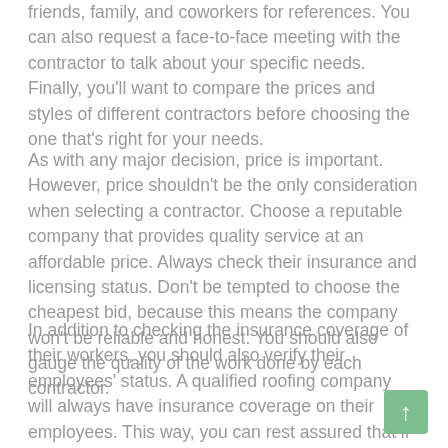friends, family, and coworkers for references. You can also request a face-to-face meeting with the contractor to talk about your specific needs. Finally, you'll want to compare the prices and styles of different contractors before choosing the one that's right for your needs.
As with any major decision, price is important. However, price shouldn't be the only consideration when selecting a contractor. Choose a reputable company that provides quality service at an affordable price. Always check their insurance and licensing status. Don't be tempted to choose the cheapest bid, because this means the company won't be reliable and honest. You should also gauge the quality of the work done by each contractor.
In addition to checking the insurance coverage of their workers, you should also verify their employees' status. A qualified roofing company will always have insurance coverage on their employees. This way, you can rest assured that if something goes wrong, you won't be liable. If